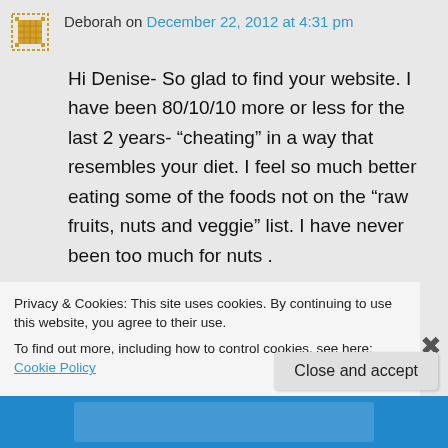Deborah on December 22, 2012 at 4:31 pm
Hi Denise- So glad to find your website. I have been 80/10/10 more or less for the last 2 years- “cheating” in a way that resembles your diet. I feel so much better eating some of the foods not on the “raw fruits, nuts and veggie” list. I have never been too much for nuts .
Thanks so much for all you research and posting=so appreciate your vision and curiosity!
Privacy & Cookies: This site uses cookies. By continuing to use this website, you agree to their use.
To find out more, including how to control cookies, see here: Cookie Policy
Close and accept